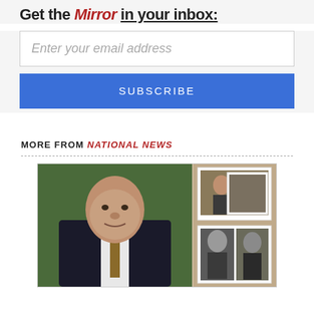Get the Mirror in your inbox:
Enter your email address
SUBSCRIBE
MORE FROM NATIONAL NEWS
[Figure (photo): Composite photo showing an elderly bald man in a dark suit and patterned tie on the left, with a collage of historical photographs on the right including black and white portraits and documents]